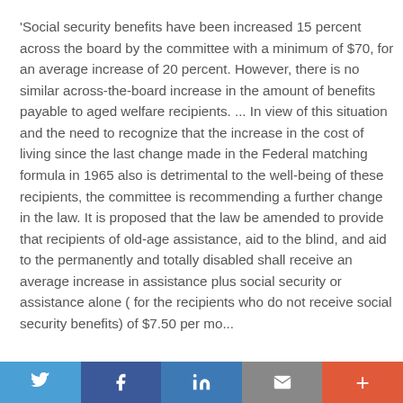'Social security benefits have been increased 15 percent across the board by the committee with a minimum of $70, for an average increase of 20 percent. However, there is no similar across-the-board increase in the amount of benefits payable to aged welfare recipients. ... In view of this situation and the need to recognize that the increase in the cost of living since the last change made in the Federal matching formula in 1965 also is detrimental to the well-being of these recipients, the committee is recommending a further change in the law. It is proposed that the law be amended to provide that recipients of old-age assistance, aid to the blind, and aid to the permanently and totally disabled shall receive an average increase in assistance plus social security or assistance alone ( for the recipients who do not receive social security benefits) of $7.50 per month...